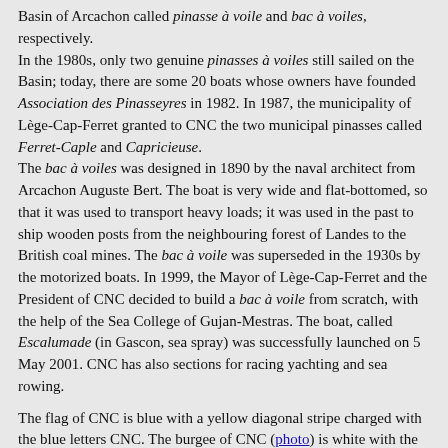Basin of Arcachon called pinasse à voile and bac à voiles, respectively.
In the 1980s, only two genuine pinasses à voiles still sailed on the Basin; today, there are some 20 boats whose owners have founded Association des Pinasseyres in 1982. In 1987, the municipality of Lège-Cap-Ferret granted to CNC the two municipal pinasses called Ferret-Caple and Capricieuse.
The bac à voiles was designed in 1890 by the naval architect from Arcachon Auguste Bert. The boat is very wide and flat-bottomed, so that it was used to transport heavy loads; it was used in the past to ship wooden posts from the neighbouring forest of Landes to the British coal mines. The bac à voile was superseded in the 1930s by the motorized boats. In 1999, the Mayor of Lège-Cap-Ferret and the President of CNC decided to build a bac à voile from scratch, with the help of the Sea College of Gujan-Mestras. The boat, called Escalumade (in Gascon, sea spray) was successfully launched on 5 May 2001. CNC has also sections for racing yachting and sea rowing.
The flag of CNC is blue with a yellow diagonal stripe charged with the blue letters CNC. The burgee of CNC (photo) is white with the club's full emblem, which features the club's flag.
Ivan Sache, 24 April 2004